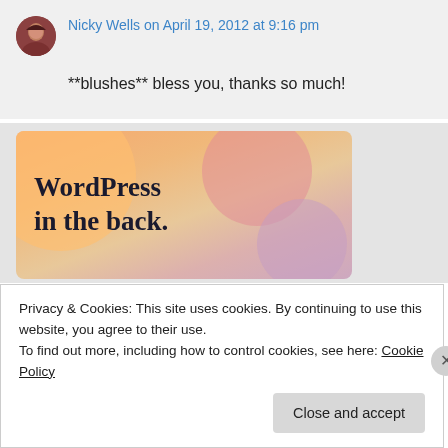Nicky Wells on April 19, 2012 at 9:16 pm
**blushes** bless you, thanks so much!
[Figure (illustration): WordPress 'in the back.' promotional banner with colorful gradient circles on an orange-pink background]
Privacy & Cookies: This site uses cookies. By continuing to use this website, you agree to their use.
To find out more, including how to control cookies, see here: Cookie Policy
Close and accept